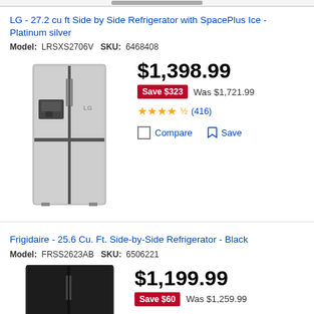[Figure (photo): Partial top of a product image cropped at top of page]
LG - 27.2 cu ft Side by Side Refrigerator with SpacePlus Ice - Platinum silver
Model: LRSXS2706V  SKU: 6468408
$1,398.99
Save $323  Was $1,721.99
★★★★½ (416)
Compare  Save
[Figure (photo): LG side-by-side refrigerator in platinum silver with water dispenser]
Frigidaire - 25.6 Cu. Ft. Side-by-Side Refrigerator - Black
Model: FRSS2623AB  SKU: 6506221
$1,199.99
Save $60  Was $1,259.99
[Figure (photo): Frigidaire black side-by-side refrigerator, partially visible]